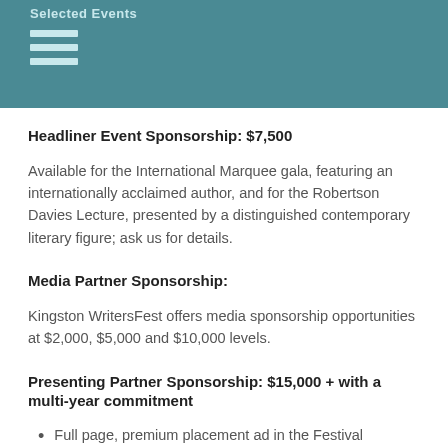Selected Events
Headliner Event Sponsorship: $7,500
Available for the International Marquee gala, featuring an internationally acclaimed author, and for the Robertson Davies Lecture, presented by a distinguished contemporary literary figure; ask us for details.
Media Partner Sponsorship:
Kingston WritersFest offers media sponsorship opportunities at $2,000, $5,000 and $10,000 levels.
Presenting Partner Sponsorship: $15,000 + with a multi-year commitment
Full page, premium placement ad in the Festival